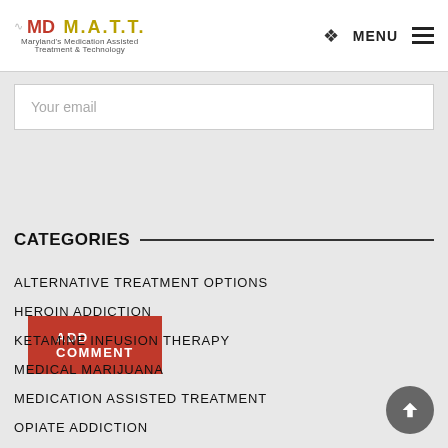MD M.A.T.T. — Maryland's Medication Assisted Treatment & Technology | MENU
Your email
ADD COMMENT
CATEGORIES
ALTERNATIVE TREATMENT OPTIONS
HEROIN ADDICTION
KETAMINE INFUSION THERAPY
MEDICAL MARIJUANA
MEDICATION ASSISTED TREATMENT
OPIATE ADDICTION
OPIATE ADDICTION TREATMENT
OPIATE REHABILITATION AND TECHNOLOGY
OPIOID EPIDEMIC
SUBOXONE